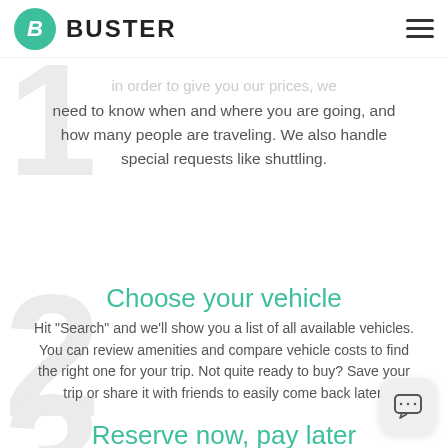BUSTER
in order to give you our prices, we need to know when and where you are going, and how many people are traveling. We also handle special requests like shuttling.
Choose your vehicle
Hit "Search" and we'll show you a list of all available vehicles. You can review amenities and compare vehicle costs to find the right one for your trip. Not quite ready to buy? Save your trip or share it with friends to easily come back later.
Reserve now, pay later